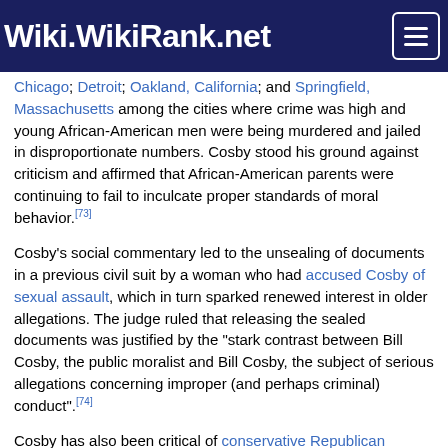Wiki.WikiRank.net
Chicago; Detroit; Oakland, California; and Springfield, Massachusetts among the cities where crime was high and young African-American men were being murdered and jailed in disproportionate numbers. Cosby stood his ground against criticism and affirmed that African-American parents were continuing to fail to inculcate proper standards of moral behavior.[73]
Cosby's social commentary led to the unsealing of documents in a previous civil suit by a woman who had accused Cosby of sexual assault, which in turn sparked renewed interest in older allegations. The judge ruled that releasing the sealed documents was justified by the "stark contrast between Bill Cosby, the public moralist and Bill Cosby, the subject of serious allegations concerning improper (and perhaps criminal) conduct".[74]
Cosby has also been critical of conservative Republican politicians in regard to their views on socioeconomic and racial issues. In a 2013, CNN interview regarding voting rights, Cosby stated "this Republican Party is not the Republican Party of 1863, of Abraham Lincoln, abolitionists and slavery, is not good. I think it's important for us to look at the underlying part of it. What is the value of it? Is it